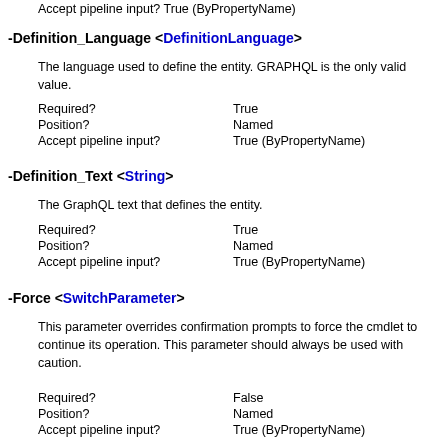Accept pipeline input? True (ByPropertyName)
-Definition_Language <DefinitionLanguage>
The language used to define the entity. GRAPHQL is the only valid value.
| Required? | True |
| Position? | Named |
| Accept pipeline input? | True (ByPropertyName) |
-Definition_Text <String>
The GraphQL text that defines the entity.
| Required? | True |
| Position? | Named |
| Accept pipeline input? | True (ByPropertyName) |
-Force <SwitchParameter>
This parameter overrides confirmation prompts to force the cmdlet to continue its operation. This parameter should always be used with caution.
| Required? | False |
| Position? | Named |
| Accept pipeline input? | True (ByPropertyName) |